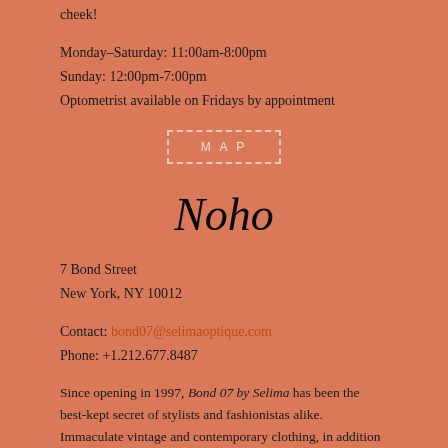cheek!
Monday–Saturday: 11:00am-8:00pm
Sunday: 12:00pm-7:00pm
Optometrist available on Fridays by appointment
[Figure (other): MAP button with dashed border]
Noho
7 Bond Street
New York, NY 10012
Contact: bond07@selimaoptique.com
Phone: +1.212.677.8487
Since opening in 1997, Bond 07 by Selima has been the best-kept secret of stylists and fashionistas alike. Immaculate vintage and contemporary clothing, in addition to out-of-the-ordinary accessories and eyewear, are chosen by Selima and her team of style experts to outfit you from head to toe. Don't forget to visit the